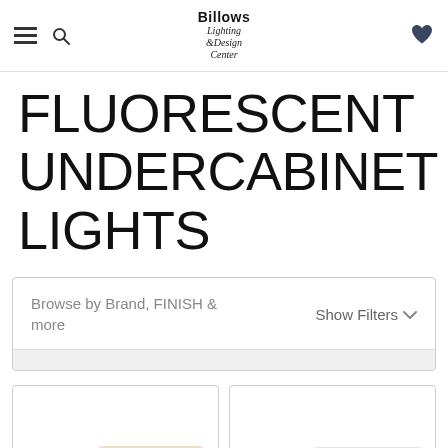Billows Lighting & Design Center — navigation header with hamburger menu, search icon, logo, and heart/wishlist icon
FLUORESCENT UNDERCABINET LIGHTS
Browse by Brand, FINISH & more    Show Filters
[Figure (photo): Two product images partially visible at bottom: two fluorescent undercabinet light tubes, one in each card]
[Figure (photo): Second fluorescent undercabinet light tube product card]